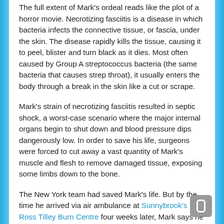The full extent of Mark's ordeal reads like the plot of a horror movie. Necrotizing fasciitis is a disease in which bacteria infects the connective tissue, or fascia, under the skin. The disease rapidly kills the tissue, causing it to peel, blister and turn black as it dies. Most often caused by Group A streptococcus bacteria (the same bacteria that causes strep throat), it usually enters the body through a break in the skin like a cut or scrape.
Mark's strain of necrotizing fasciitis resulted in septic shock, a worst-case scenario where the major internal organs begin to shut down and blood pressure dips dangerously low. In order to save his life, surgeons were forced to cut away a vast quantity of Mark's muscle and flesh to remove damaged tissue, exposing some limbs down to the bone.
The New York team had saved Mark's life. But by the time he arrived via air ambulance at Sunnybrook's Ross Tilley Burn Centre four weeks later, Mark says he was in extremely rough shape.